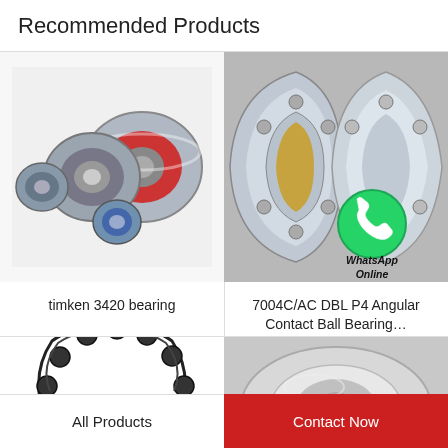Recommended Products
[Figure (photo): Several ball bearings of various sizes arranged together, showing metal and sealed variants with red and blue seals]
timken 3420 bearing
[Figure (photo): Two angular contact ball bearings shown in cross-section, with a WhatsApp Online overlay icon and text]
7004C/AC DBL P4 Angular Contact Ball Bearing…
[Figure (photo): Partial view of a black ball bearing retainer/cage from below]
[Figure (photo): Partial view of a metal ball bearing, close-up side view]
All Products
Contact Now